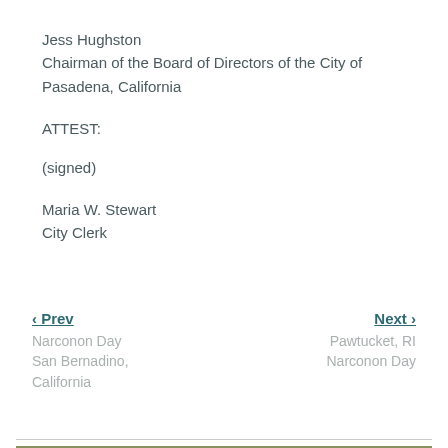Jess Hughston
Chairman of the Board of Directors of the City of Pasadena, California
ATTEST:
(signed)
Maria W. Stewart
City Clerk
‹ Prev  Narconon Day San Bernadino, California    Next ›  Pawtucket, RI Narconon Day